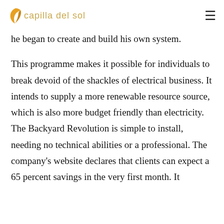capilla del sol
he began to create and build his own system.
This programme makes it possible for individuals to break devoid of the shackles of electrical business. It intends to supply a more renewable resource source, which is also more budget friendly than electricity. The Backyard Revolution is simple to install, needing no technical abilities or a professional. The company's website declares that clients can expect a 65 percent savings in the very first month. It